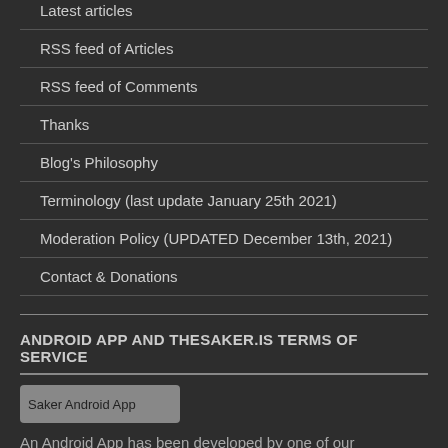Latest articles
RSS feed of Articles
RSS feed of Comments
Thanks
Blog's Philosophy
Terminology (last update January 25th 2021)
Moderation Policy (UPDATED December 13th, 2021)
Contact & Donations
ANDROID APP AND THESAKER.IS TERMS OF SERVICE
[Figure (other): Saker Android App badge image]
An Android App has been developed by one of our supporters. It is available for download and install by clicking on the Google Play Store Badge above.
Website (thesaker.is) Terms of Service: